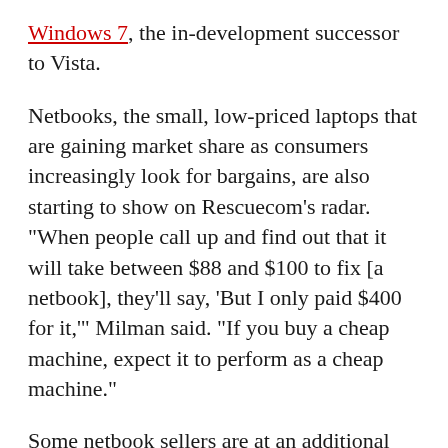Windows 7, the in-development successor to Vista.
Netbooks, the small, low-priced laptops that are gaining market share as consumers increasingly look for bargains, are also starting to show on Rescuecom's radar. "When people call up and find out that it will take between $88 and $100 to fix [a netbook], they'll say, 'But I only paid $400 for it,'" Milman said. "If you buy a cheap machine, expect it to perform as a cheap machine."
Some netbook sellers are at an additional disadvantage, in that they don't have a support infrastructure that can compete with the likes of